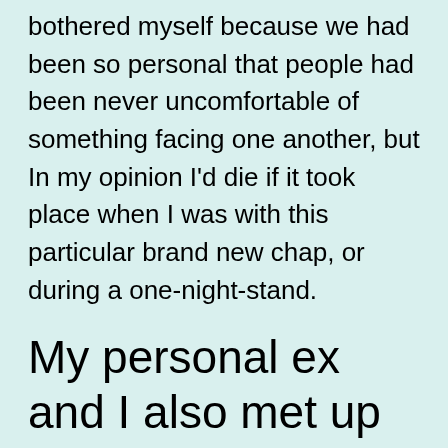...whoever I get with my an they never ever bothered myself because we had been so personal that people had been never uncomfortable of something facing one another, but In my opinion I'd die if it took place when I was with this particular brand new chap, or during a one-night-stand.
My personal ex and I also met up when we happened to be both pretty younger and inexperienced